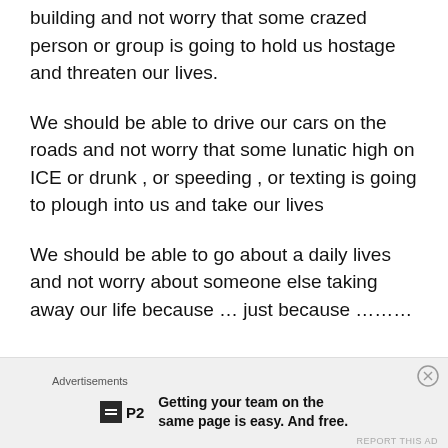building and not worry that some crazed person or group is going to hold us hostage and threaten our lives.
We should be able to drive our cars on the roads and not worry that some lunatic high on ICE or drunk , or speeding , or texting is going to plough into us and take our lives
We should be able to go about a daily lives and not worry about someone else taking away our life because … just because ………
Advertisements
Getting your team on the same page is easy. And free.